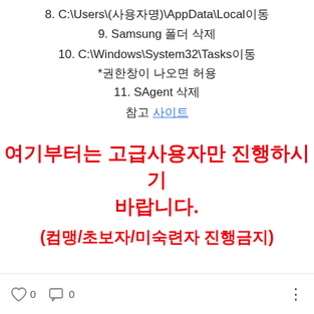8. C:\Users\(사용자명)\AppData\Local이동
9. Samsung 폴더 삭제
10. C:\Windows\System32\Tasks이동
*권한창이 나오면 허용
11. SAgent 삭제
참고 사이트
여기부터는 고급사용자만 진행하시기 바랍니다.
(컴맹/초보자/미숙련자 진행금지)
0  0